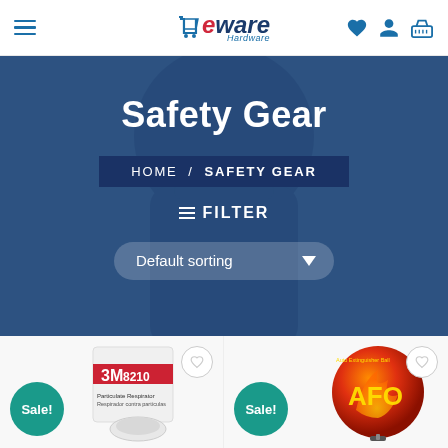eware Hardware – navigation header with hamburger menu, logo, and icons (wishlist, account, cart)
Safety Gear
HOME / SAFETY GEAR
≡ FILTER
Default sorting
[Figure (screenshot): Product card for 3M 8210 Particulate Respirator with Sale! badge and heart/wishlist button]
[Figure (screenshot): Product card for AFO Auto Fire Off fire extinguisher ball with Sale! badge and heart/wishlist button]